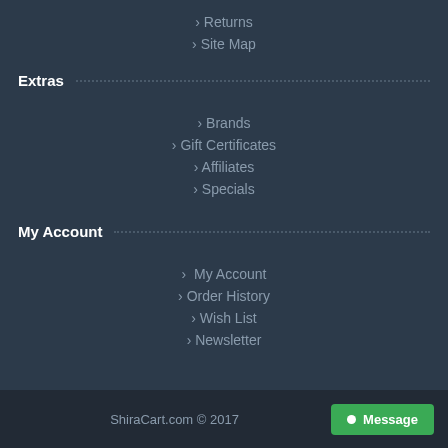> Returns
> Site Map
Extras
> Brands
> Gift Certificates
> Affiliates
> Specials
My Account
> My Account
> Order History
> Wish List
> Newsletter
ShiraCart.com © 2017